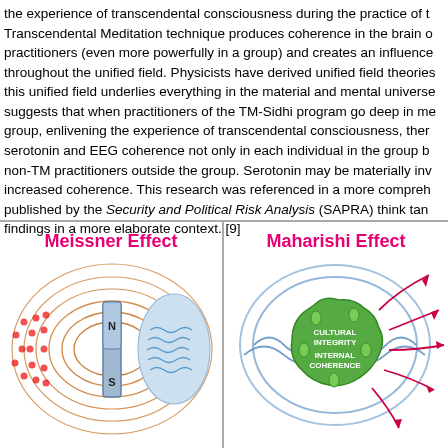the experience of transcendental consciousness during the practice of the Transcendental Meditation technique produces coherence in the brain of practitioners (even more powerfully in a group) and creates an influence throughout the unified field. Physicists have derived unified field theories; this unified field underlies everything in the material and mental universe, suggests that when practitioners of the TM-Sidhi program go deep in me... group, enlivening the experience of transcendental consciousness, there... serotonin and EEG coherence not only in each individual in the group b... non-TM practitioners outside the group. Serotonin may be materially inv... increased coherence. This research was referenced in a more compreh... published by the Security and Political Risk Analysis (SAPRA) think tan... findings in a more elaborate context. [9]
[Figure (illustration): Meissner Effect diagram showing a bar magnet (N on top, S on bottom) with magnetic field lines looping around it in orange/brown, and a red dotted cluster on the left side and a blue wavy oval on the right side representing the Meissner effect (superconductor expelling magnetic fields).]
[Figure (illustration): Maharishi Effect diagram showing a green blob shape in the center labeled 'CULTURAL INTEGRITY / INTERNAL COHERENCE' surrounded by blue wavy lines and red arrows radiating outward and curving around, representing coherent influence spreading outward from a group.]